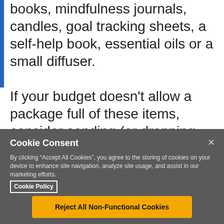books, mindfulness journals, candles, goal tracking sheets, a self-help book, essential oils or a small diffuser.
If your budget doesn't allow a package full of these items, consider sending (or dropping off) at least one of your choosing. A little goes a long way, and the thoughtfulness behind the action will be remembered for a long time to come.
Cookie Consent
By clicking “Accept All Cookies”, you agree to the storing of cookies on your device to enhance site navigation, analyze site usage, and assist in our marketing efforts. Cookie Policy
Reject All Non-Functional Cookies